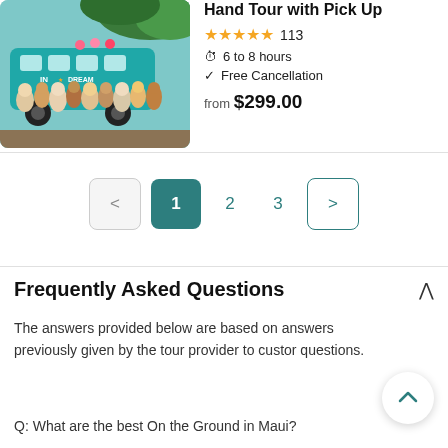[Figure (photo): Group photo of tourists in front of a teal/turquoise bus with 'IN A DREAM' text, surrounded by tropical plants]
Hand Tour with Pick Up
★★★★★ 113
6 to 8 hours
Free Cancellation
from $299.00
< 1 2 3 >
Frequently Asked Questions
The answers provided below are based on answers previously given by the tour provider to customer questions.
Q: What are the best On the Ground in Maui?